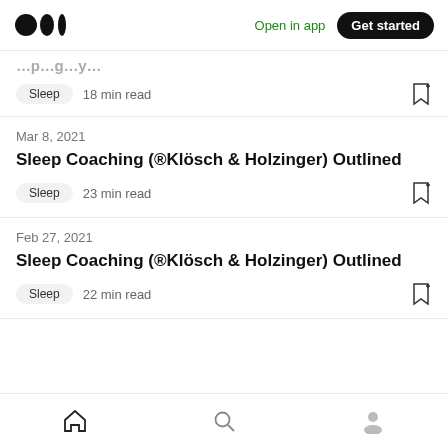Medium — Open in app | Get started
Sleep  18 min read
Mar 8, 2021
Sleep Coaching (®Klösch & Holzinger) Outlined
Sleep  23 min read
Feb 27, 2021
Sleep Coaching (®Klösch & Holzinger) Outlined
Sleep  22 min read
Home | Search | Profile